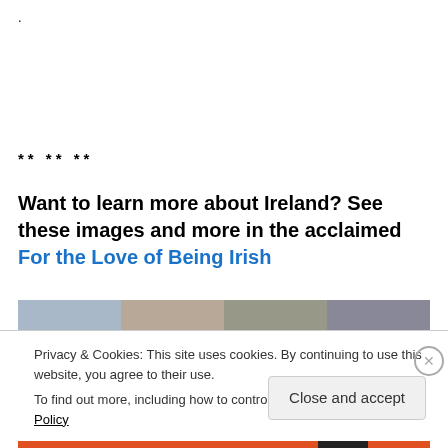.
** ** **
Want to learn more about Ireland? See these images and more in the acclaimed For the Love of Being Irish
[Figure (photo): A strip of four photographs related to Ireland, partially visible]
Privacy & Cookies: This site uses cookies. By continuing to use this website, you agree to their use.
To find out more, including how to control cookies, see here: Cookie Policy
Close and accept